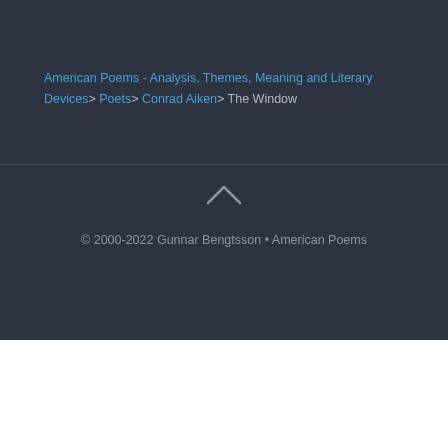American Poems - Analysis, Themes, Meaning and Literary Devices> Poets> Conrad Aiken> The Window
© 2000-2022 Gunnar Bengtsson • American Poems